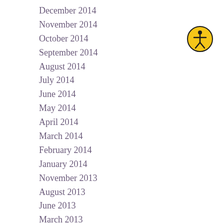December 2014
November 2014
October 2014
September 2014
August 2014
July 2014
June 2014
May 2014
April 2014
March 2014
February 2014
January 2014
November 2013
August 2013
June 2013
March 2013
January 2013
[Figure (illustration): Accessibility icon: yellow circle with black border containing a stick figure person with arms outstretched]